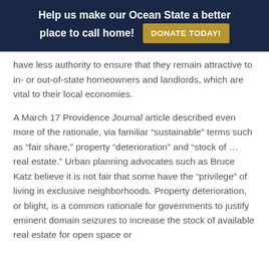Help us make our Ocean State a better place to call home! DONATE TODAY!
have less authority to ensure that they remain attractive to in- or out-of-state homeowners and landlords, which are vital to their local economies.
A March 17 Providence Journal article described even more of the rationale, via familiar “sustainable” terms such as “fair share,” property “deterioration” and “stock of … real estate.” Urban planning advocates such as Bruce Katz believe it is not fair that some have the “privilege” of living in exclusive neighborhoods. Property deterioration, or blight, is a common rationale for governments to justify eminent domain seizures to increase the stock of available real estate for open space or